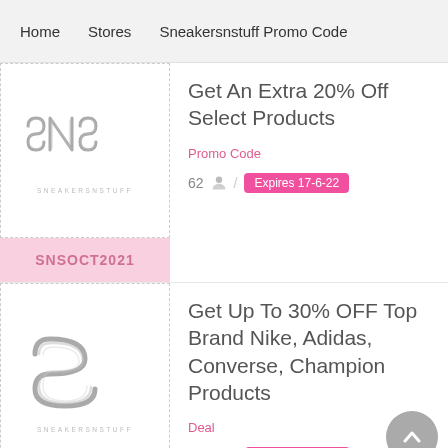Home   Stores   Sneakersnstuff Promo Code
[Figure (logo): Sneakersnstuff (SNS) logo with stylized lettering and SNEAKERSNSTUFF text below]
Get An Extra 20% Off Select Products
Promo Code
SNSOCT2021
62 / Expires 17-6-22
[Figure (logo): Sneakersnstuff (SNS) logo with stylized lettering and SNEAKERSNSTUFF text below]
Get Up To 30% OFF Top Brand Nike, Adidas, Converse, Champion Products
Deal
Get Deal
53 / Expires 30-9-21